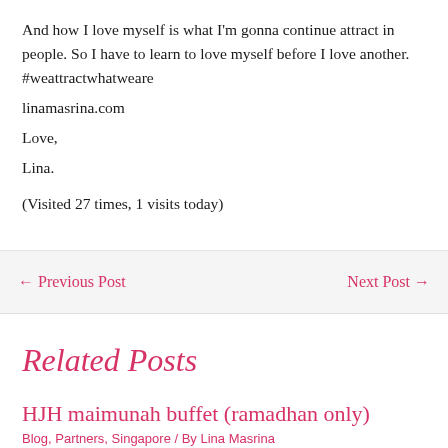And how I love myself is what I'm gonna continue attract in people. So I have to learn to love myself before I love another. #weattractwhatweare
linamasrina.com
Love,
Lina.
(Visited 27 times, 1 visits today)
← Previous Post
Next Post →
Related Posts
HJH maimunah buffet (ramadhan only)
Blog, Partners, Singapore / By Lina Masrina